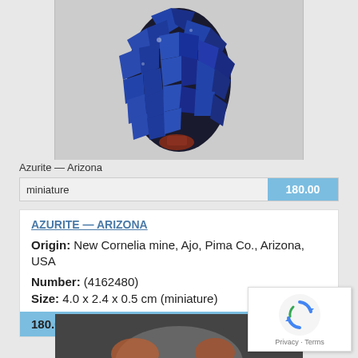[Figure (photo): Azurite mineral specimen from Arizona — dark blue-black crystalline cluster on a light grey background]
Azurite — Arizona
miniature   180.00
AZURITE — ARIZONA
Origin: New Cornelia mine, Ajo, Pima Co., Arizona, USA
Number: (4162480)
Size: 4.0 x 2.4 x 0.5 cm (miniature)
180.00
[Figure (photo): Partial view of another mineral specimen at the bottom of the page]
[Figure (logo): Google reCAPTCHA badge with Privacy and Terms links]